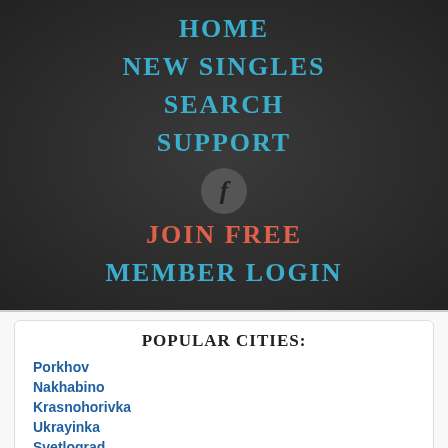HOME
NEW SINGLES
SEARCH
SUPPORT
[Figure (logo): Facebook icon circle with letter f]
JOIN FREE
MEMBER LOGIN
POPULAR CITIES:
Porkhov
Nakhabino
Krasnohorivka
Ukrayinka
Svetlograd